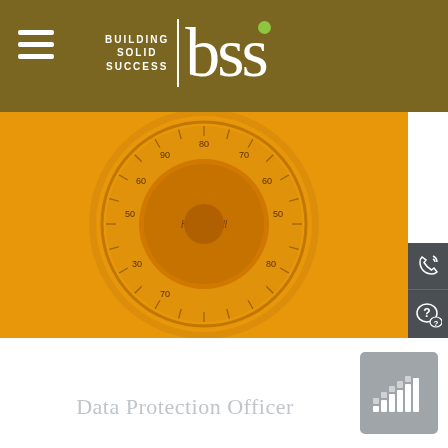[Figure (logo): BSS Building Solid Success logo with hamburger menu on dark gold/olive header bar]
[Figure (photo): Close-up photo of an orange/yellow Honeywell round thermostat on an orange background]
[Figure (infographic): Grey sidebar with phone/call icon and speech bubble with question mark icon]
[Figure (logo): Grey square badge with stacked dot/bar chart icon pattern (DPO badge)]
Data Protection Officer